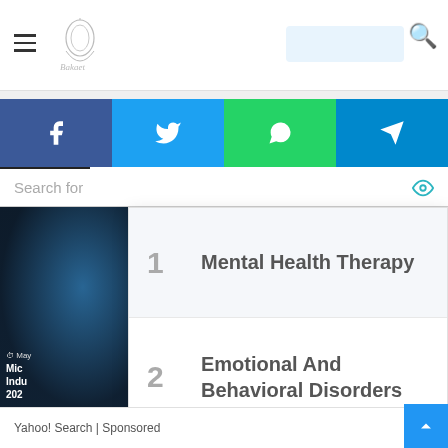Website header with hamburger menu, logo, search box, and search icon
[Figure (screenshot): Social sharing bar with Facebook, Twitter, WhatsApp, and Telegram buttons]
Search for
1 Mental Health Therapy
2 Emotional And Behavioral Disorders
Yahoo! Search | Sponsored